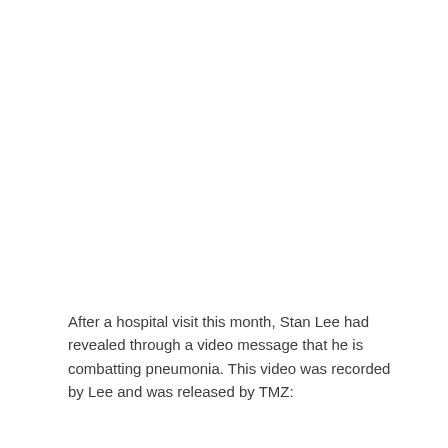After a hospital visit this month, Stan Lee had revealed through a video message that he is combatting pneumonia. This video was recorded by Lee and was released by TMZ: